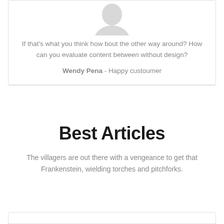[Figure (illustration): Circular avatar/profile image placeholder in light gray]
If that's what you think how bout the other way around? How can you evaluate content between without design?
Wendy Pena - Happy custoumer
Best Articles
The villagers are out there with a vengeance to get that Frankenstein, wielding torches and pitchforks.